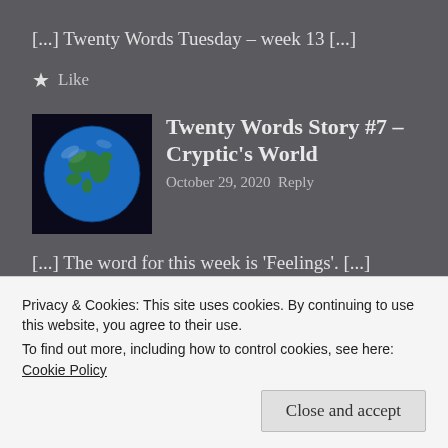[...] Twenty Words Tuesday – week 13 [...]
★ Like
[Figure (photo): Globe/Earth photo used as avatar thumbnail]
Twenty Words Story #7 – Cryptic's World
October 29, 2020 Reply
[...] The word for this week is 'Feelings'. [...]
Privacy & Cookies: This site uses cookies. By continuing to use this website, you agree to their use.
To find out more, including how to control cookies, see here: Cookie Policy